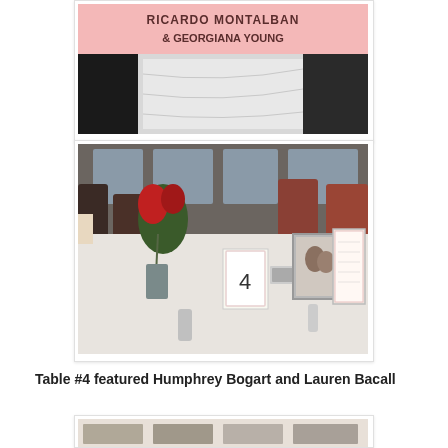[Figure (photo): Top portion of a wedding invitation with pink background showing text 'Ricardo Montalban & Georgiana Young' with couple in formal wear below]
[Figure (photo): Wedding reception table #4 decorated with red roses, table number card showing '4', a framed photo of a couple, and a menu or program card, in a restaurant setting]
Table #4 featured Humphrey Bogart and Lauren Bacall
[Figure (photo): Partial view of another wedding reception table, cut off at bottom of page]